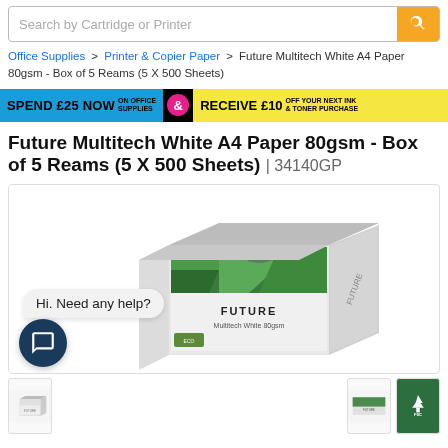Search by Cartridge or Printer
Office Supplies > Printer & Copier Paper > Future Multitech White A4 Paper 80gsm - Box of 5 Reams (5 X 500 Sheets)
[Figure (infographic): Promotional banner: SPEND £25 NOW ON OFFICE SUPPLIES & RECEIVE £10 OFF YOUR NEXT INK & TONER PURCHASE]
Future Multitech White A4 Paper 80gsm - Box of 5 Reams (5 X 500 Sheets) | 34140GP
[Figure (photo): Product image of Future Multitech White A4 Paper 80gsm box with green forest imagery on top, shown in a bordered product display area with chat support bubble saying 'Hi. Need any help?' and a chat icon]
[Figure (photo): Thumbnail 1: side view of paper ream box]
[Figure (photo): Thumbnail 2: top view of paper box showing green label]
[Figure (photo): Thumbnail 3: FSC certification logo on green background]